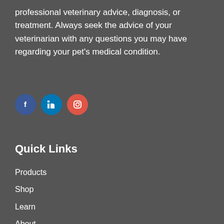professional veterinary advice, diagnosis, or treatment. Always seek the advice of your veterinarian with any questions you may have regarding your pet's medical condition.
[Figure (other): Three social media icon circles: Facebook (blue), LinkedIn (blue), Instagram (red/coral)]
Quick Links
Products
Shop
Learn
About